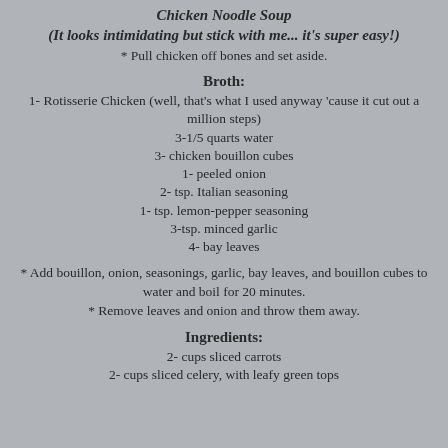Chicken Noodle Soup
(It looks intimidating but stick with me... it's super easy!)
* Pull chicken off bones and set aside.
Broth:
1- Rotisserie Chicken (well, that's what I used anyway 'cause it cut out a million steps)
3-1/5 quarts water
3- chicken bouillon cubes
1- peeled onion
2- tsp. Italian seasoning
1- tsp. lemon-pepper seasoning
3-tsp. minced garlic
4- bay leaves
* Add bouillon, onion, seasonings, garlic, bay leaves, and bouillon cubes to water and boil for 20 minutes.
* Remove leaves and onion and throw them away.
Ingredients:
2- cups sliced carrots
2- cups sliced celery, with leafy green tops